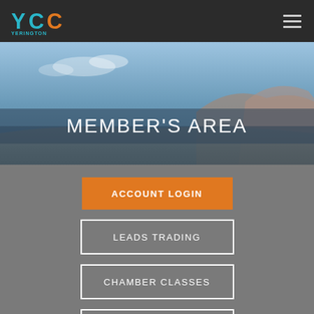[Figure (logo): YCC Yerington Chamber of Commerce logo with teal Y letters and orange CC letters]
MEMBER'S AREA
ACCOUNT LOGIN
LEADS TRADING
CHAMBER CLASSES
MEMBER SUPPORT